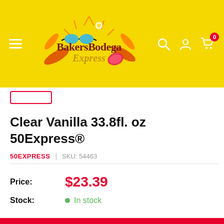[Figure (logo): BakersBodega Express logo on yellow header background with tropical/summer theme]
Clear Vanilla 33.8fl. oz 50Express®
50EXPRESS | SKU: 54463
Price: $23.39
Stock: In stock
Quantity: 1